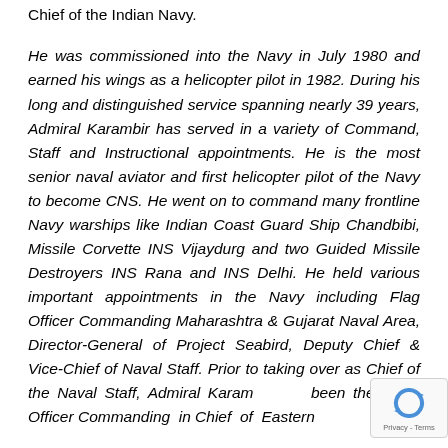Chief of the Indian Navy.
He was commissioned into the Navy in July 1980 and earned his wings as a helicopter pilot in 1982. During his long and distinguished service spanning nearly 39 years, Admiral Karambir has served in a variety of Command, Staff and Instructional appointments. He is the most senior naval aviator and first helicopter pilot of the Navy to become CNS. He went on to command many frontline Navy warships like Indian Coast Guard Ship Chandbibi, Missile Corvette INS Vijaydurg and two Guided Missile Destroyers INS Rana and INS Delhi. He held various important appointments in the Navy including Flag Officer Commanding Maharashtra & Gujarat Naval Area, Director-General of Project Seabird, Deputy Chief & Vice-Chief of Naval Staff. Prior to taking over as Chief of the Naval Staff, Admiral Karambir has been the Flag Officer Commanding in Chief of Eastern
[Figure (other): reCAPTCHA badge showing recycling-arrow logo with 'Privacy - Terms' text]